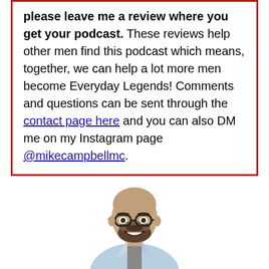please leave me a review where you get your podcast. These reviews help other men find this podcast which means, together, we can help a lot more men become Everyday Legends! Comments and questions can be sent through the contact page here and you can also DM me on my Instagram page @mikecampbellmc.
[Figure (photo): A smiling bald man with a beard and glasses wearing a light blue button-up shirt, photographed from the chest up against a white background.]